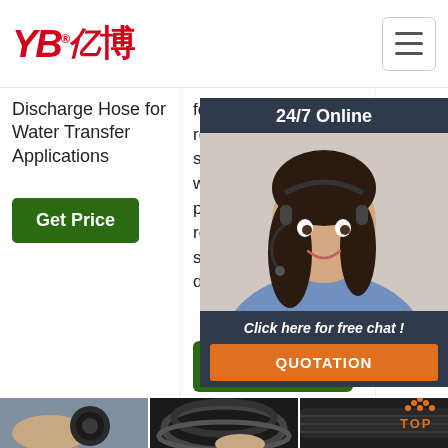YB亿博®
Discharge Hose for Water Transfer Applications
for corrosion resistance, high strength, and light weight. High-tensile polyester yarn reinforcement for strength and durability.
Products Trading Co.
Get Price
Get Price
[Figure (photo): 24/7 Online chat agent - woman with headset smiling]
Click here for free chat !
QUOTATION
[Figure (photo): Hand holding a rubber hose cross-section end]
[Figure (photo): Coiled black hoses being held]
[Figure (photo): Close-up of hose surface with TOP icon in orange]